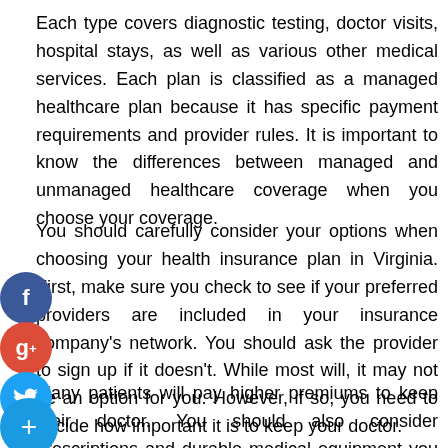Each type covers diagnostic testing, doctor visits, hospital stays, as well as various other medical services. Each plan is classified as a managed healthcare plan because it has specific payment requirements and provider rules. It is important to know the differences between managed and unmanaged healthcare coverage when you choose your coverage.
You should carefully consider your options when choosing your health insurance plan in Virginia. First, make sure you check to see if your preferred providers are included in your insurance company's network. You should ask the provider to sign up if it doesn't. While most will, it may not be an option for you. However, if so, you need to decide how important it is to keep your doctor.
Many patients will pay higher premiums to keep their doctor. You should also consider prescriptions and durable medical equipment you use. You should make sure that prescriptions are included in the coverage you are about to choose.